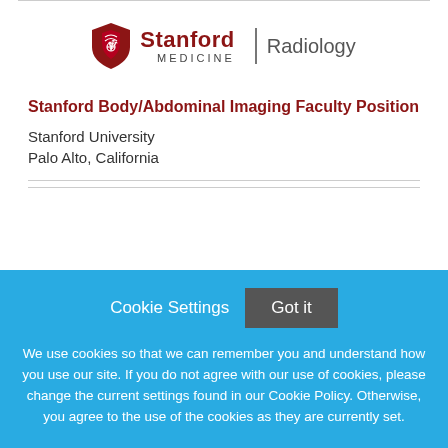[Figure (logo): Stanford Medicine Radiology logo with shield emblem, Stanford in red bold, MEDICINE in spaced caps, and Radiology to the right separated by a vertical bar]
Stanford Body/Abdominal Imaging Faculty Position
Stanford University
Palo Alto, California
Cookie Settings  Got it
We use cookies so that we can remember you and understand how you use our site. If you do not agree with our use of cookies, please change the current settings found in our Cookie Policy. Otherwise, you agree to the use of the cookies as they are currently set.